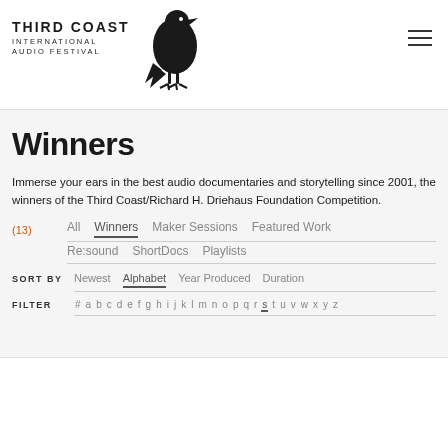THIRD COAST INTERNATIONAL AUDIO FESTIVAL
Winners
Immerse your ears in the best audio documentaries and storytelling since 2001, the winners of the Third Coast/Richard H. Driehaus Foundation Competition.
(13) All  Winners  Maker Sessions  Featured Work  Re:sound  ShortDocs  Playlists
SORT BY  Newest  Alphabet  Year Produced  Duration
FILTER  # a b c d e f g h i j k l m n o p q r s t u v w x y z